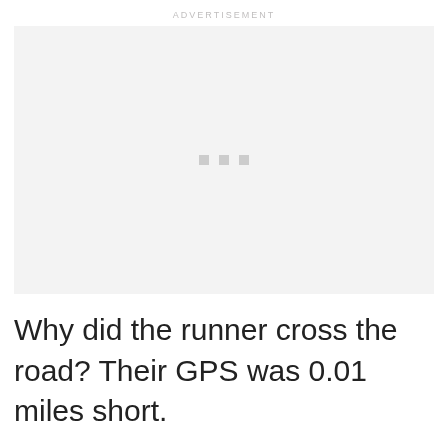ADVERTISEMENT
[Figure (other): Advertisement placeholder box with three small grey dots in the center, light grey background]
Why did the runner cross the road? Their GPS was 0.01 miles short.